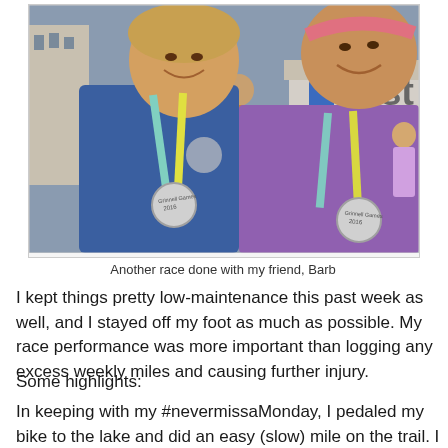[Figure (photo): Two women wearing race medals around their necks, smiling at camera. Both wearing athletic gear. The medals appear to be from Grinnell Games 2016. One woman wears a blue top, the other wears a purple top and pink headband. Background shows a street scene with blue-shirted volunteers and event tents.]
Another race done with my friend, Barb
I kept things pretty low-maintenance this past week as well, and I stayed off my foot as much as possible. My race performance was more important than logging any excess weekly miles and causing further injury.
Some highlights:
In keeping with my #nevermissaMonday, I pedaled my bike to the lake and did an easy (slow) mile on the trail. I may have also done some planking and declined push-ups with the picnic table.